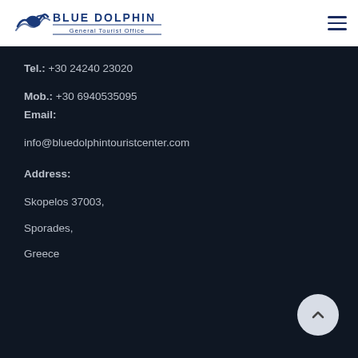[Figure (logo): Blue Dolphin General Tourist Office logo with dolphin wave icon in blue]
Tel.: +30 24240 23020
Mob.: +30 6940535095
Email:
info@bluedolphintouristcenter.com
Address:
Skopelos 37003,
Sporades,
Greece